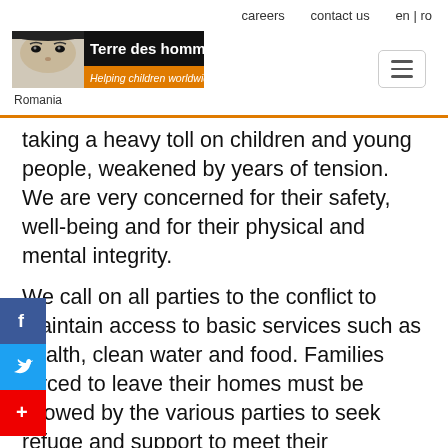careers   contact us   en | ro
[Figure (logo): Terre des hommes Romania logo — child face image with orange/black branding and tagline 'Helping children worldwide.']
taking a heavy toll on children and young people, weakened by years of tension. We are very concerned for their safety, well-being and for their physical and mental integrity.
We call on all parties to the conflict to maintain access to basic services such as health, clean water and food. Families forced to leave their homes must be allowed by the various parties to seek refuge and support to meet their protection needs.